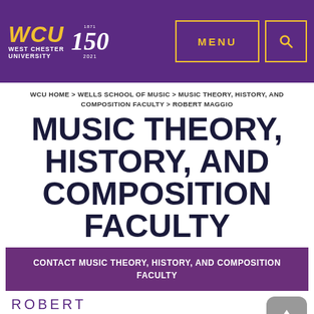[Figure (logo): West Chester University logo with WCU text in gold italic and 150th anniversary mark]
WCU HOME > WELLS SCHOOL OF MUSIC > MUSIC THEORY, HISTORY, AND COMPOSITION FACULTY > ROBERT MAGGIO
MUSIC THEORY, HISTORY, AND COMPOSITION FACULTY
CONTACT MUSIC THEORY, HISTORY, AND COMPOSITION FACULTY
ROBERT MAGGIO